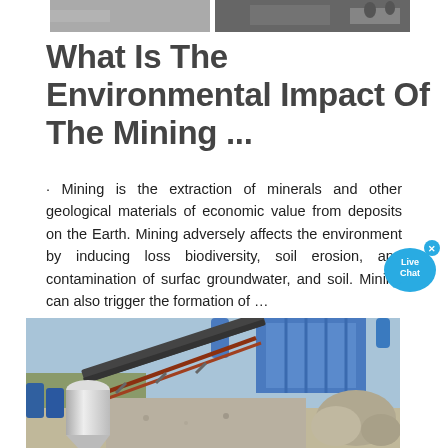[Figure (photo): Partial top image of mining/industrial equipment, black and white or dark toned photo visible at top]
What Is The Environmental Impact Of The Mining ...
· Mining is the extraction of minerals and other geological materials of economic value from deposits on the Earth. Mining adversely affects the environment by inducing loss biodiversity, soil erosion, and contamination of surface groundwater, and soil. Mining can also trigger the formation of …
[Figure (photo): Aerial/overhead photograph of a mining processing facility showing a blue industrial structure, conveyor belts, cylindrical mill, and rocky terrain]